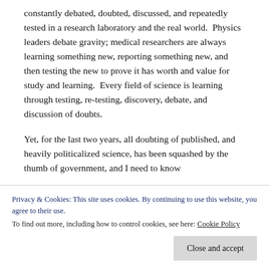constantly debated, doubted, discussed, and repeatedly tested in a research laboratory and the real world.  Physics leaders debate gravity; medical researchers are always learning something new, reporting something new, and then testing the new to prove it has worth and value for study and learning.  Every field of science is learning through testing, re-testing, discovery, debate, and discussion of doubts.
Yet, for the last two years, all doubting of published, and heavily politicalized science, has been squashed by the thumb of government, and I need to know
Privacy & Cookies: This site uses cookies. By continuing to use this website, you agree to their use.
To find out more, including how to control cookies, see here: Cookie Policy
though every manufacturer is forced, by legislation,